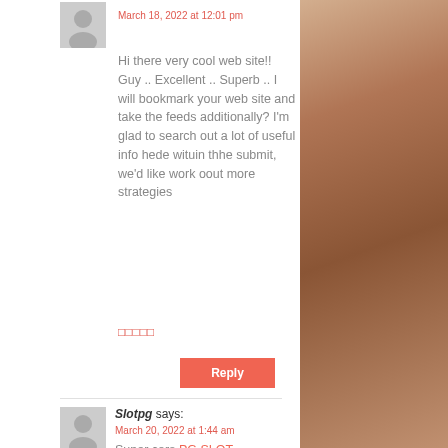March 18, 2022 at 12:01 pm
Hi there very cool web site!! Guy .. Excellent .. Superb .. I will bookmark your web site and take the feeds additionally? I'm glad to search out a lot of useful info hede wituin thhe submit, we'd like work oout more strategies
□□□□□
Reply
Slotpg says:
March 20, 2022 at 1:44 am
Super cars PG SLOT